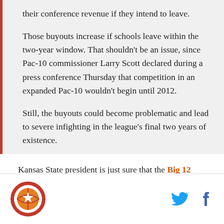their conference revenue if they intend to leave.
Those buyouts increase if schools leave within the two-year window. That shouldn't be an issue, since Pac-10 commissioner Larry Scott declared during a press conference Thursday that competition in an expanded Pac-10 wouldn't begin until 2012.
Still, the buyouts could become problematic and lead to severe infighting in the league's final two years of existence.
Kansas State president is just sure that the Big 12 will not dissolve.
[Figure (logo): SB Nation logo — circular orange icon with a star and basketball]